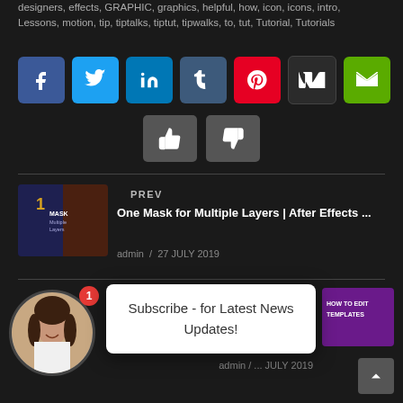designers, effects, GRAPHIC, graphics, helpful, how, icon, icons, intro, Lessons, motion, tip, tiptalks, tiptut, tipwalks, to, tut, Tutorial, Tutorials
[Figure (infographic): Row of social media share buttons: Facebook, Twitter, LinkedIn, Tumblr, Pinterest, VK, Email]
[Figure (infographic): Thumbs up and thumbs down vote buttons]
PREV
[Figure (thumbnail): Thumbnail image for One Mask for Multiple Layers tutorial]
One Mask for Multiple Layers | After Effects ...
admin / 27 JULY 2019
NEXT
[Figure (infographic): Subscribe popup overlay: Subscribe - for Latest News Updates!]
[Figure (photo): Avatar photo of a woman with a red notification badge showing '1']
[Figure (thumbnail): HOW TO EDIT TEMPLATES thumbnail]
admin / ... JULY 2019